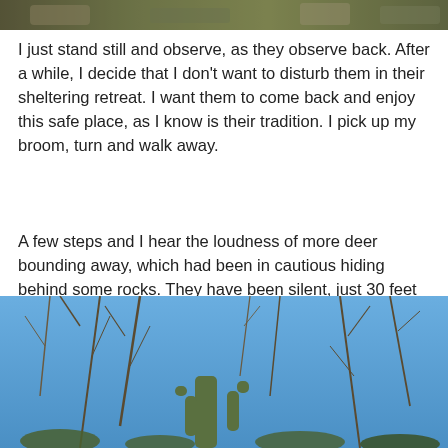[Figure (photo): Top portion of an outdoor nature photo showing rocky terrain with vegetation]
I just stand still and observe, as they observe back. After a while, I decide that I don't want to disturb them in their sheltering retreat. I want them to come back and enjoy this safe place, as I know is their tradition. I pick up my broom, turn and walk away.
A few steps and I hear the loudness of more deer bounding away, which had been in cautious hiding behind some rocks. They have been silent, just 30 feet away. Three more, I count.
[Figure (photo): Outdoor desert scene with blue sky, tall thin bare branches, a saguaro cactus visible at the bottom, and desert shrubs]